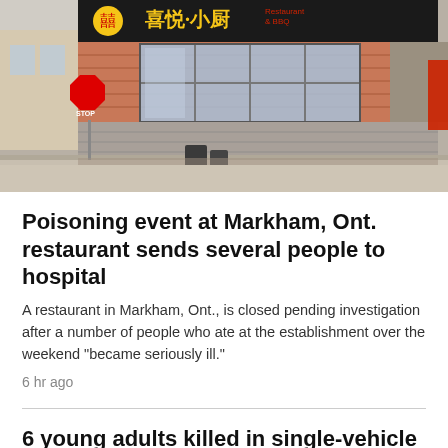[Figure (photo): Exterior photo of a Chinese restaurant and BBQ in Markham, Ontario. The storefront has a dark sign with Chinese characters and 'Restaurant & BBQ' text in red/yellow. Red-brick facade with large windows. A stop sign is visible at left. Parking lot in front.]
Poisoning event at Markham, Ont. restaurant sends several people to hospital
A restaurant in Markham, Ont., is closed pending investigation after a number of people who ate at the establishment over the weekend "became seriously ill."
6 hr ago
6 young adults killed in single-vehicle Barrie crash identified
9 hr ago